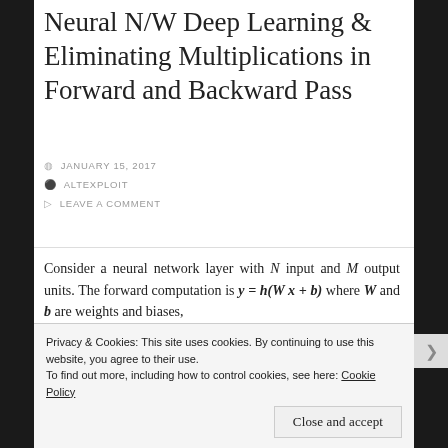Neural N/W Deep Learning & Eliminating Multiplications in Forward and Backward Pass
JANUARY 15, 2017
ALTEXPLOIT
LEAVE A COMMENT
Consider a neural network layer with N input and M output units. The forward computation is y = h(W x + b) where W and b are weights and biases,
Privacy & Cookies: This site uses cookies. By continuing to use this website, you agree to their use.
To find out more, including how to control cookies, see here: Cookie Policy